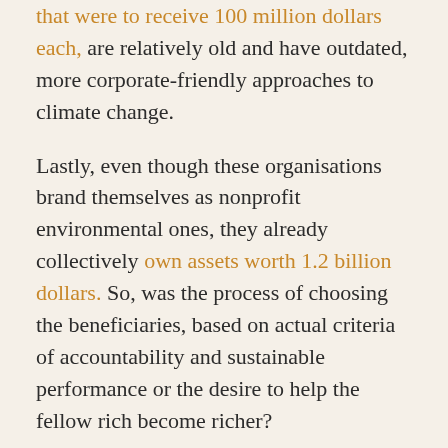that were to receive 100 million dollars each, are relatively old and have outdated, more corporate-friendly approaches to climate change.
Lastly, even though these organisations brand themselves as nonprofit environmental ones, they already collectively own assets worth 1.2 billion dollars. So, was the process of choosing the beneficiaries, based on actual criteria of accountability and sustainable performance or the desire to help the fellow rich become richer?
Although the criticisms towards the Earth Fund are well deserved, it would be pretentious of me to attempt to suggest